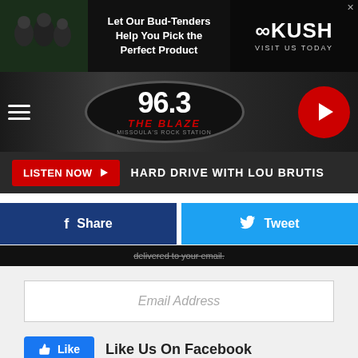[Figure (screenshot): Advertisement banner: Let Our Bud-Tenders Help You Pick the Perfect Product - KUSH VISIT US TODAY]
[Figure (logo): 96.3 The Blaze - Missoula's Rock Station logo with navigation hamburger menu and play button]
LISTEN NOW  HARD DRIVE WITH LOU BRUTIS
Share   Tweet
delivered to your email.
Email Address
Like   Like Us On Facebook